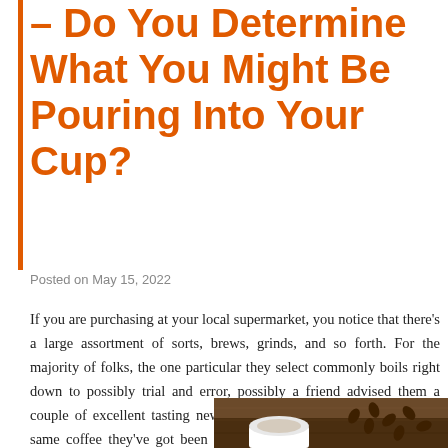– Do You Determine What You Might Be Pouring Into Your Cup?
Posted on May 15, 2022
If you are purchasing at your local supermarket, you notice that there's a large assortment of sorts, brews, grinds, and so forth. For the majority of folks, the one particular they select commonly boils right down to possibly trial and error, possibly a friend advised them a couple of excellent tasting new brand name, they just invest in the same coffee they've got been getting because Bosco was a pup, or they invest in whatsoever is on sale that working day by coffee bean delivery australia.
[Figure (photo): Photo of a coffee cup and coffee beans on a wooden surface]